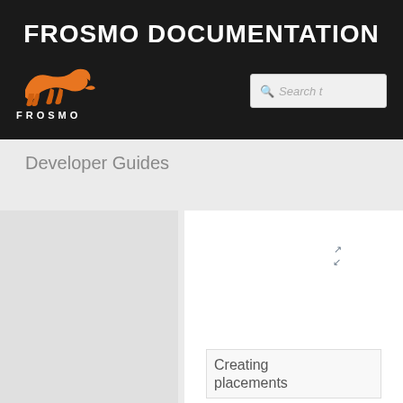FROSMO DOCUMENTATION
[Figure (logo): Frosmo logo: orange running cheetah silhouette with FROSMO text below in white]
[Figure (screenshot): Search box with magnifying glass icon and placeholder text 'Search t']
Developer Guides
[Figure (screenshot): Two content cards side by side. Left card is light gray, right card is white with expand arrows icon. An inner card at bottom right shows text 'Creating placements']
Creating placements